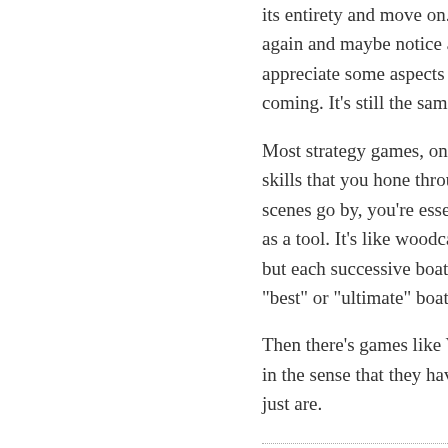its entirety and move on. Lik again and maybe notice a few appreciate some aspects mor coming. It's still the same ga
Most strategy games, on the skills that you hone through p scenes go by, you're essentia as a tool. It's like woodcarvin but each successive boat will "best" or "ultimate" boat, jus
Then there's games like Vict in the sense that they have a just are.